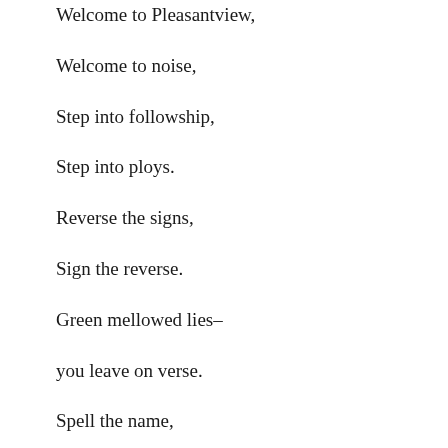Welcome to Pleasantview,
Welcome to noise,
Step into followship,
Step into ploys.
Reverse the signs,
Sign the reverse.
Green mellowed lies–
you leave on verse.
Spell the name,
Sound out the words,